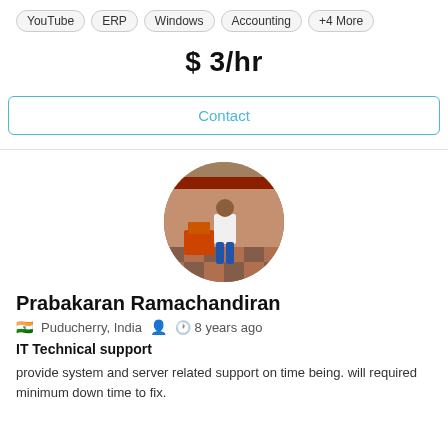YouTube  ERP  Windows  Accounting  +4 More
$ 3/hr
Contact
[Figure (photo): Profile photo of Prabakaran Ramachandiran standing in an outdoor courtyard area]
Prabakaran Ramachandiran
🇮🇳 Puducherry, India   👤   🕐 8 years ago
IT Technical support
provide system and server related support on time being. will required minimum down time to fix.